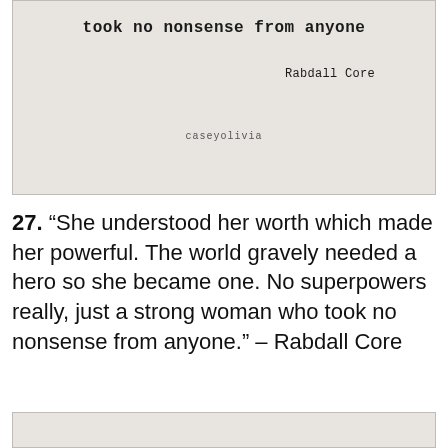[Figure (other): Typewriter-style card with text 'took no nonsense from anyone', author attribution 'Rabdall Core', and watermark 'caseyolivia']
27. “She understood her worth which made her powerful. The world gravely needed a hero so she became one. No superpowers really, just a strong woman who took no nonsense from anyone.” – Rabdall Core
[Figure (other): Bottom partial card, same style as top card]